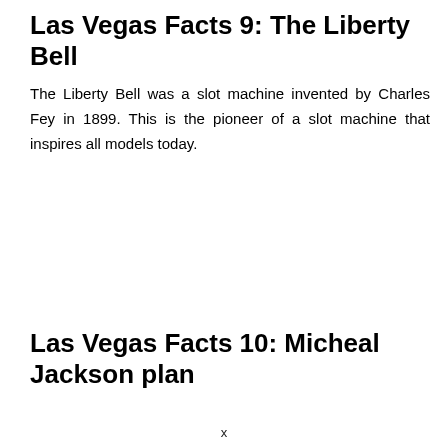Las Vegas Facts 9: The Liberty Bell
The Liberty Bell was a slot machine invented by Charles Fey in 1899. This is the pioneer of a slot machine that inspires all models today.
Las Vegas Facts 10: Micheal Jackson plan